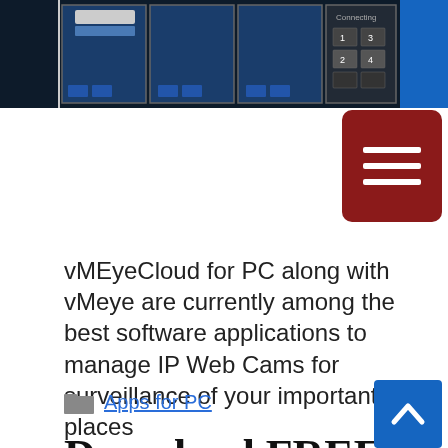[Figure (screenshot): Multiple mobile app screenshots of vMEyeCloud application showing camera feeds and controls, with a blue square on the right]
[Figure (other): Dark red hamburger menu button with three white horizontal lines]
vMEyeCloud for PC along with vMeye are currently among the best software applications to manage IP Web Cams for surveillance of your important places
Apps for PC
Download FREE vMEye for PC Windows, Mac and